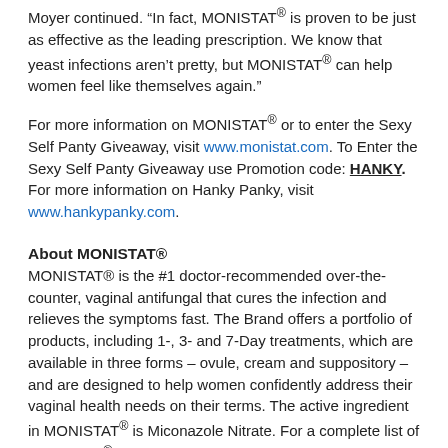Moyer continued. “In fact, MONISTAT® is proven to be just as effective as the leading prescription. We know that yeast infections aren’t pretty, but MONISTAT® can help women feel like themselves again.”
For more information on MONISTAT® or to enter the Sexy Self Panty Giveaway, visit www.monistat.com. To Enter the Sexy Self Panty Giveaway use Promotion code: HANKY.    For more information on Hanky Panky, visit www.hankypanky.com.
About MONISTAT®
MONISTAT® is the #1 doctor-recommended over-the-counter, vaginal antifungal that cures the infection and relieves the symptoms fast. The Brand offers a portfolio of products, including 1-, 3- and 7-Day treatments, which are available in three forms – ovule, cream and suppository – and are designed to help women confidently address their vaginal health needs on their terms. The active ingredient in MONISTAT® is Miconazole Nitrate. For a complete list of MONISTAT® products, visit www.monistat.com.
About INSIGHT Pharmaceuticals: